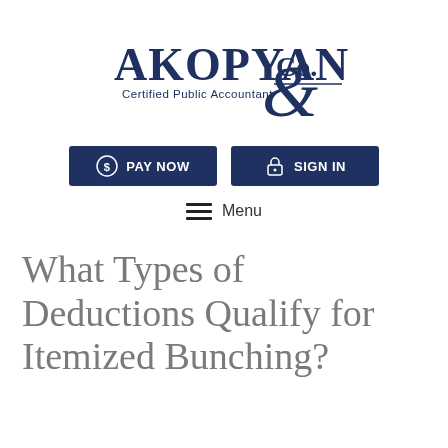[Figure (logo): Akopyan & Co. Certified Public Accountant logo in navy blue]
[Figure (infographic): Two navy blue buttons: PAY NOW with dollar speech bubble icon, and SIGN IN with padlock icon]
[Figure (infographic): Hamburger menu icon with three horizontal lines and text 'Menu']
What Types of Deductions Qualify for Itemized Bunching?